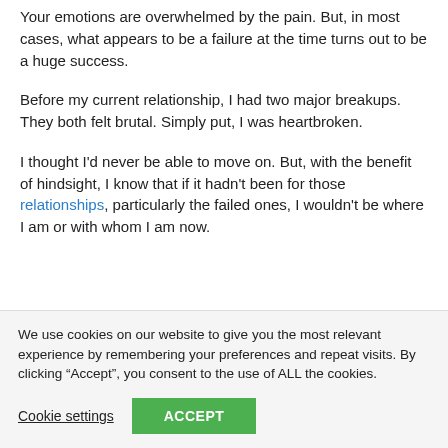Your emotions are overwhelmed by the pain. But, in most cases, what appears to be a failure at the time turns out to be a huge success.
Before my current relationship, I had two major breakups. They both felt brutal. Simply put, I was heartbroken.
I thought I'd never be able to move on. But, with the benefit of hindsight, I know that if it hadn't been for those relationships, particularly the failed ones, I wouldn't be where I am or with whom I am now.
We use cookies on our website to give you the most relevant experience by remembering your preferences and repeat visits. By clicking “Accept”, you consent to the use of ALL the cookies.
Cookie settings
ACCEPT